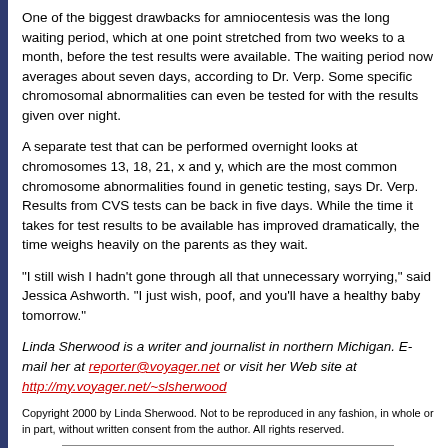One of the biggest drawbacks for amniocentesis was the long waiting period, which at one point stretched from two weeks to a month, before the test results were available. The waiting period now averages about seven days, according to Dr. Verp. Some specific chromosomal abnormalities can even be tested for with the results given over night.
A separate test that can be performed overnight looks at chromosomes 13, 18, 21, x and y, which are the most common chromosome abnormalities found in genetic testing, says Dr. Verp. Results from CVS tests can be back in five days. While the time it takes for test results to be available has improved dramatically, the time weighs heavily on the parents as they wait.
"I still wish I hadn't gone through all that unnecessary worrying," said Jessica Ashworth. "I just wish, poof, and you'll have a healthy baby tomorrow."
Linda Sherwood is a writer and journalist in northern Michigan. E-mail her at reporter@voyager.net or visit her Web site at http://my.voyager.net/~slsherwood
Copyright 2000 by Linda Sherwood. Not to be reproduced in any fashion, in whole or in part, without written consent from the author. All rights reserved.